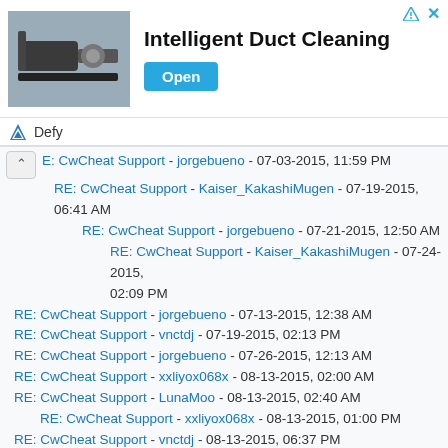[Figure (photo): Advertisement banner for Intelligent Duct Cleaning with a photo of duct cleaning equipment, bold title text, and an Open button]
Defy
E: CwCheat Support - jorgebueno - 07-03-2015, 11:59 PM
RE: CwCheat Support - Kaiser_KakashiMugen - 07-19-2015, 06:41 AM
RE: CwCheat Support - jorgebueno - 07-21-2015, 12:50 AM
RE: CwCheat Support - Kaiser_KakashiMugen - 07-24-2015, 02:09 PM
RE: CwCheat Support - jorgebueno - 07-13-2015, 12:38 AM
RE: CwCheat Support - vnctdj - 07-19-2015, 02:13 PM
RE: CwCheat Support - jorgebueno - 07-26-2015, 12:13 AM
RE: CwCheat Support - xxliyox068x - 08-13-2015, 02:00 AM
RE: CwCheat Support - LunaMoo - 08-13-2015, 02:40 AM
RE: CwCheat Support - xxliyox068x - 08-13-2015, 01:00 PM
RE: CwCheat Support - vnctdj - 08-13-2015, 06:37 PM
RE: CwCheat Support - vnctdj - 08-15-2015, 10:10 PM
RE: CwCheat Support - HolyBash - 08-16-2015, 06:45 AM
RE: CwCheat Support - vnctdj - 08-25-2015, 04:12 PM
RE: CwCheat Support - ZXNova - 08-29-2015, 06:39 PM
RE: CwCheat Support - LunaMoo - 08-30-2015, 05:24 AM
RE: CwCheat Support - johny siaw - 08-30-2015, 07:56 AM
RE: CwCheat Support - vnctdj - 09-02-2015, 08:36 PM
RE: CwCheat Support - ...